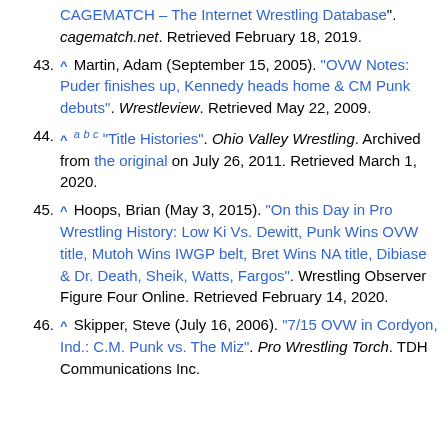CAGEMATCH – The Internet Wrestling Database". cagematch.net. Retrieved February 18, 2019.
43. ^ Martin, Adam (September 15, 2005). "OVW Notes: Puder finishes up, Kennedy heads home & CM Punk debuts". Wrestleview. Retrieved May 22, 2009.
44. ^ a b c "Title Histories". Ohio Valley Wrestling. Archived from the original on July 26, 2011. Retrieved March 1, 2020.
45. ^ Hoops, Brian (May 3, 2015). "On this Day in Pro Wrestling History: Low Ki Vs. Dewitt, Punk Wins OVW title, Mutoh Wins IWGP belt, Bret Wins NA title, Dibiase & Dr. Death, Sheik, Watts, Fargos". Wrestling Observer Figure Four Online. Retrieved February 14, 2020.
46. ^ Skipper, Steve (July 16, 2006). "7/15 OVW in Cordyon, Ind.: C.M. Punk vs. The Miz". Pro Wrestling Torch. TDH Communications Inc.